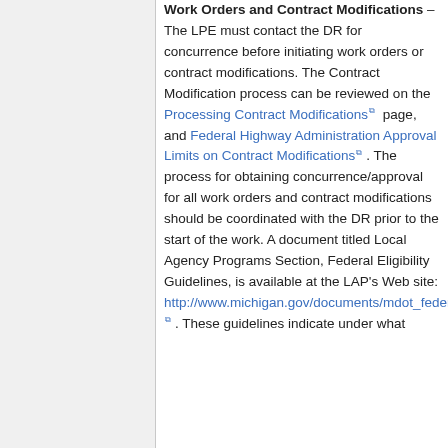Work Orders and Contract Modifications – The LPE must contact the DR for concurrence before initiating work orders or contract modifications. The Contract Modification process can be reviewed on the Processing Contract Modifications page, and Federal Highway Administration Approval Limits on Contract Modifications. The process for obtaining concurrence/approval for all work orders and contract modifications should be coordinated with the DR prior to the start of the work. A document titled Local Agency Programs Section, Federal Eligibility Guidelines, is available at the LAP's Web site: http://www.michigan.gov/documents/mdot_federal_Guidelines_99105_7.pdf. These guidelines indicate under what...